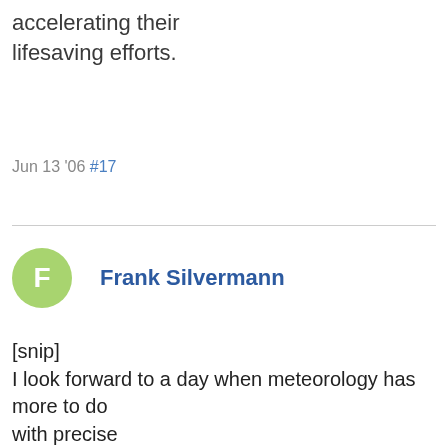accelerating their lifesaving efforts.
Jun 13 '06 #17
Frank Silvermann
[snip]
I look forward to a day when meteorology has more to do with precise
models than models, although I'm all for Russian-style delivery of such
data. I forecast that a lot of people will be surprised by the